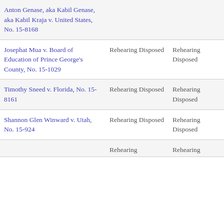| Case | Disposition | Disposition | State |
| --- | --- | --- | --- |
| Anton Genase, aka Kabil Genase, aka Kabil Kraja v. United States, No. 15-8168 |  |  |  |
| Josephat Mua v. Board of Education of Prince George's County, No. 15-1029 | Rehearing Disposed | Rehearing Disposed | Mar |
| Timothy Sneed v. Florida, No. 15-8161 | Rehearing Disposed | Rehearing Disposed | Flor |
| Shannon Glen Winward v. Utah, No. 15-924 | Rehearing Disposed | Rehearing Disposed | Utah |
| [partial row] | Rehearing | Rehearing |  |